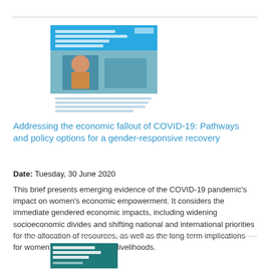[Figure (illustration): Thumbnail image of a document cover with blue banner, photo of a person, and text about COVID-19 economic fallout and gender-responsive recovery]
Addressing the economic fallout of COVID-19: Pathways and policy options for a gender-responsive recovery
Date: Tuesday, 30 June 2020
This brief presents emerging evidence of the COVID-19 pandemic's impact on women's economic empowerment. It considers the immediate gendered economic impacts, including widening socioeconomic divides and shifting national and international priorities for the allocation of resources, as well as the long-term implications for women's employment and livelihoods.
[Figure (illustration): Thumbnail image of a document cover with teal/dark background and text reading RAPID GENDER ASSESSMENT: THE IMPACT OF COVID-19 ON WOMEN AND MEN]